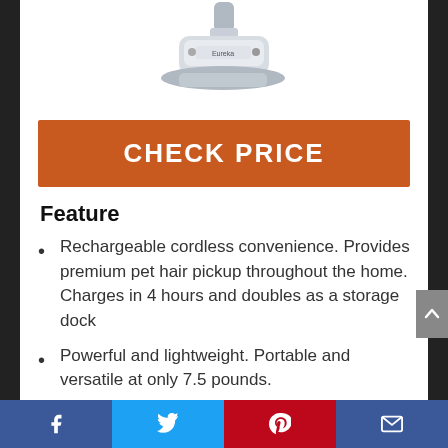[Figure (photo): Product photo of a cordless handheld vacuum cleaner (Eureka brand), viewed from above, with a charging base, silver and gray colors.]
CHECK PRICE
Feature
Rechargeable cordless convenience. Provides premium pet hair pickup throughout the home. Charges in 4 hours and doubles as a storage dock
Powerful and lightweight. Portable and versatile at only 7.5 pounds.